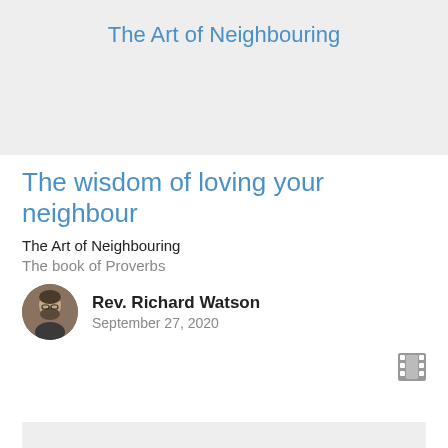[Figure (photo): Gray banner area with centered blue heading 'The Art of Neighbouring']
The wisdom of loving your neighbour
The Art of Neighbouring
The book of Proverbs
Rev. Richard Watson
September 27, 2020
[Figure (photo): Film/video icon in gray, top right of content area]
[Figure (photo): Gray bar at the bottom of the page]